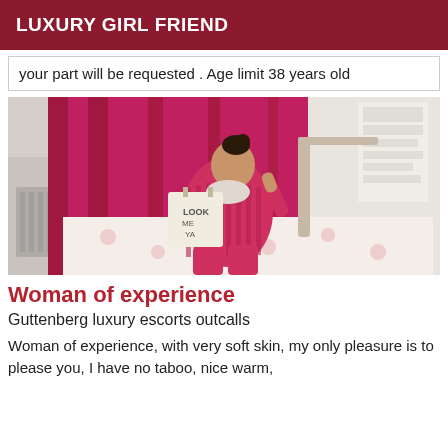LUXURY GIRL FRIEND
your part will be requested . Age limit 38 years old
[Figure (photo): A young woman wearing red striped pajamas sitting on a bed with floral bedding, holding a tote bag, with a pink curtain in the background.]
Woman of experience
Guttenberg luxury escorts outcalls
Woman of experience, with very soft skin, my only pleasure is to please you, I have no taboo, nice warm,